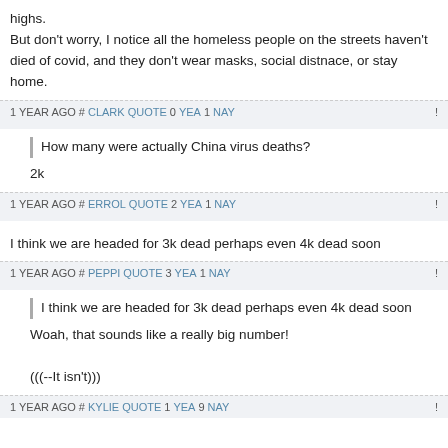highs.
But don't worry, I notice all the homeless people on the streets haven't died of covid, and they don't wear masks, social distnace, or stay home.
1 YEAR AGO # CLARK QUOTE 0 YEA 1 NAY !
How many were actually China virus deaths?
2k
1 YEAR AGO # ERROL QUOTE 2 YEA 1 NAY !
I think we are headed for 3k dead perhaps even 4k dead soon
1 YEAR AGO # PEPPI QUOTE 3 YEA 1 NAY !
I think we are headed for 3k dead perhaps even 4k dead soon
Woah, that sounds like a really big number!

(((--It isn't)))
1 YEAR AGO # KYLIE QUOTE 1 YEA 9 NAY !